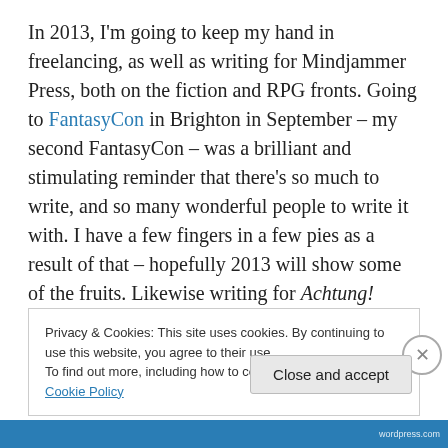In 2013, I'm going to keep my hand in freelancing, as well as writing for Mindjammer Press, both on the fiction and RPG fronts. Going to FantasyCon in Brighton in September – my second FantasyCon – was a brilliant and stimulating reminder that there's so much to write, and so many wonderful people to write it with. I have a few fingers in a few pies as a result of that – hopefully 2013 will show some of the fruits. Likewise writing for Achtung! Cthulhu for Chris Birch's Modiphius and Angus Abranson's Chronicle City has been excellent – the third part of the
Privacy & Cookies: This site uses cookies. By continuing to use this website, you agree to their use. To find out more, including how to control cookies, see here: Cookie Policy
Close and accept